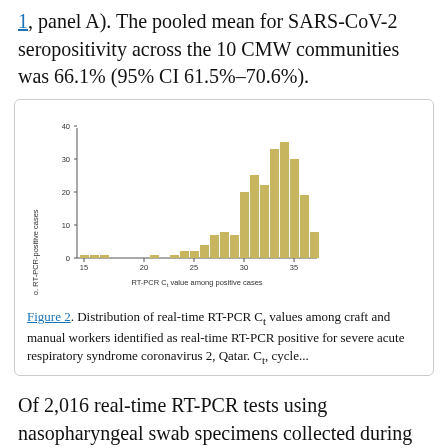1, panel A). The pooled mean for SARS-CoV-2 seropositivity across the 10 CMW communities was 66.1% (95% CI 61.5%–70.6%).
[Figure (histogram): Distribution of RT-PCR Ct values among positive cases]
Figure 2. Distribution of real-time RT-PCR Ct values among craft and manual workers identified as real-time RT-PCR positive for severe acute respiratory syndrome coronavirus 2, Qatar. Ct, cycle...
Of 2,016 real-time RT-PCR tests using nasopharyngeal swab specimens collected during this study for these CMWs, 112 (5.6%, 95% CI 4.6%–6.6%) were positive. Real-time RT-PCR positivity ranged from 0.0% (95% CI 0.0%–3.9%) for CMW community 1 and 0.0% (95% CI 0.0%–9.0%) for CMW community 8 to 10.5% (95% CI